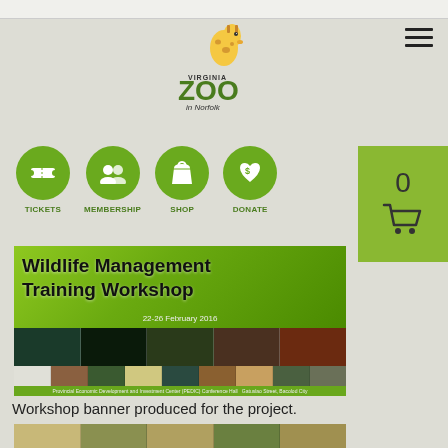[Figure (logo): Virginia Zoo in Norfolk logo with giraffe graphic, green stylized ZOO text]
[Figure (infographic): Navigation icons row: TICKETS (ticket icon), MEMBERSHIP (group icon), SHOP (bag icon), DONATE (heart/dollar icon) — all on olive green circles]
[Figure (infographic): Shopping cart box with count 0, green background]
[Figure (photo): Wildlife Management Training Workshop banner image with wildlife photos and organization logos, dated 22-26 February 2016]
Workshop banner produced for the project.
[Figure (photo): Bottom strip showing partial photo of bamboo or wooden structure]